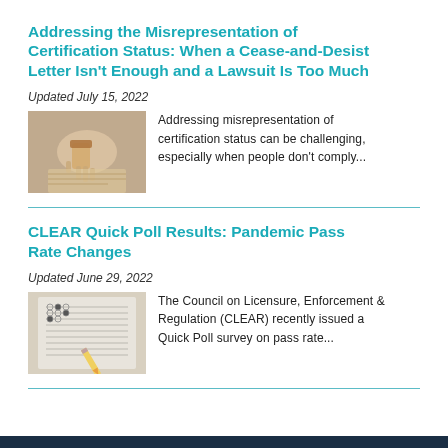Addressing the Misrepresentation of Certification Status: When a Cease-and-Desist Letter Isn't Enough and a Lawsuit Is Too Much
Updated July 15, 2022
[Figure (photo): Close-up photo of hands stamping or pressing a seal on a document]
Addressing misrepresentation of certification status can be challenging, especially when people don't comply...
CLEAR Quick Poll Results: Pandemic Pass Rate Changes
Updated June 29, 2022
[Figure (photo): Close-up photo of a hand filling out a multiple choice exam with a pencil]
The Council on Licensure, Enforcement & Regulation (CLEAR) recently issued a Quick Poll survey on pass rate...